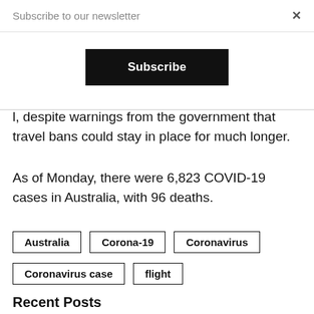Subscribe to our newsletter
×
Subscribe
l, despite warnings from the government that travel bans could stay in place for much longer.
As of Monday, there were 6,823 COVID-19 cases in Australia, with 96 deaths.
Australia
Corona-19
Coronavirus
Coronavirus case
flight
Recent Posts